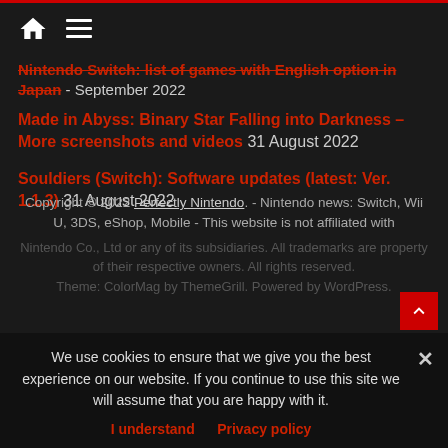Home | Menu
Nintendo Switch: list of games with English option in Japan - September 2022
Made in Abyss: Binary Star Falling into Darkness – More screenshots and videos 31 August 2022
Souldiers (Switch): Software updates (latest: Ver. 1.1.3) 31 August 2022
Copyright © 2022 Perfectly Nintendo. - Nintendo news: Switch, Wii U, 3DS, eShop, Mobile - This website is not affiliated with Nintendo Co., Ltd or any of its subsidiaries. All trademarks are property of their respective owners. All rights reserved. Theme: ColorMag by ThemeGrill. Powered by WordPress.
We use cookies to ensure that we give you the best experience on our website. If you continue to use this site we will assume that you are happy with it.
I understand  Privacy policy